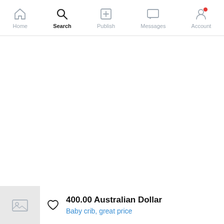Home | Search | Publish | Messages | Account
[Figure (screenshot): Empty white content area below navigation bar]
400.00 Australian Dollar
Baby crib, great price